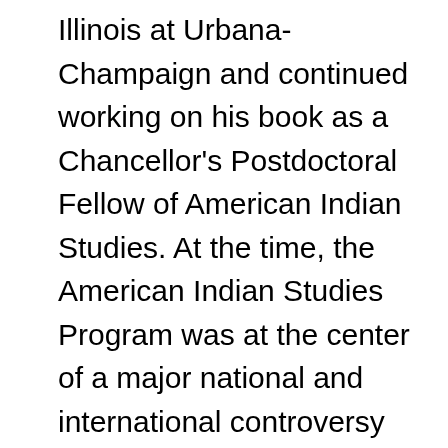Illinois at Urbana-Champaign and continued working on his book as a Chancellor's Postdoctoral Fellow of American Indian Studies. At the time, the American Indian Studies Program was at the center of a major national and international controversy surrounding the university's dehiring of the program's new faculty member Steven Salaita. Although he had just arrived on campus, Kevin stood by my colleagues and me as we protested the university's decision and demonstrated our commitment to shared governance and academic freedom. Nobody expected Kevin to join the fight, but he eagerly engaged in the protests, and soon it became clear to all that our struggle had also become his